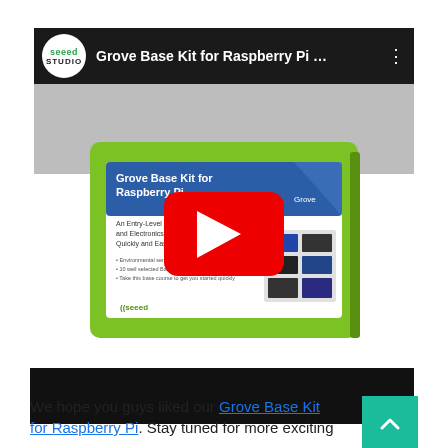[Figure (screenshot): YouTube video bar with Seeed Studio logo and title 'Grove Base Kit for Raspberry Pi ...' with three-dot menu]
[Figure (screenshot): Video thumbnail showing Grove Base Kit for Raspberry Pi product box with YouTube play button overlay]
[Figure (screenshot): Black video player bar below the product box]
We hope you guys liked our Grove Base Kit for Raspberry Pi. Stay tuned for more exciting